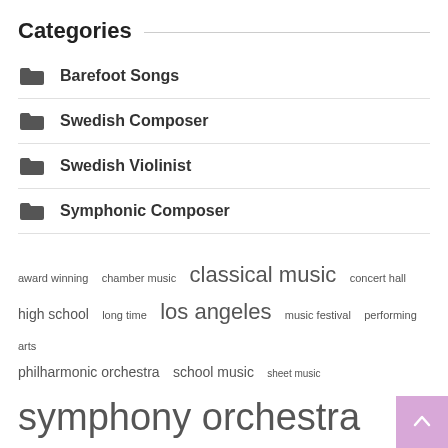Categories
Barefoot Songs
Swedish Composer
Swedish Violinist
Symphonic Composer
award winning  chamber music  classical music  concert hall  high school  long time  los angeles  music festival  performing arts  philharmonic orchestra  school music  sheet music  symphony orchestra  united states  violin concerto